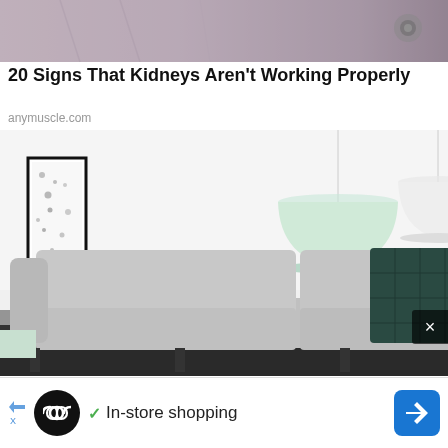[Figure (photo): Close-up photo of a person in gray/silver clothing with a small circular object visible, partially cropped at top]
20 Signs That Kidneys Aren't Working Properly
anymuscle.com
[Figure (photo): Interior living room photo with two pendant lamps (mint green and white), a gray sofa with dark teal and leaf-print pillows, a gray throw blanket, framed art on the left wall, a plant and vase on a white side table to the right]
✓ In-store shopping